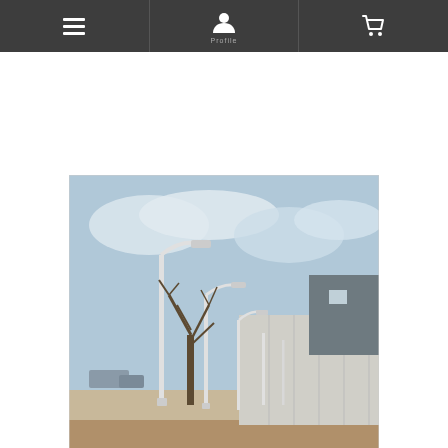Navigation bar with menu, user, and cart icons
[Figure (photo): Outdoor photograph showing steel light poles along a sidewalk or pathway, with a bare tree, a concrete or metal panel fence/wall on the right, and buildings in the background under a partly cloudy sky. The poles are white/silver colored with LED streetlight fixtures.]
#10959: Steel Light Pole Project for Fort Collins Community Association